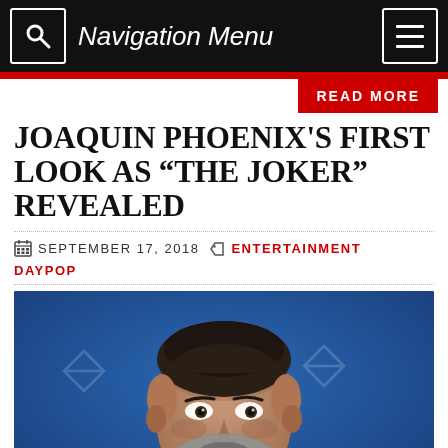Navigation Menu
READ MORE
JOAQUIN PHOENIX’S FIRST LOOK AS “THE JOKER” REVEALED
SEPTEMBER 17, 2018  ENTERTAINMENT DAYPOP
[Figure (photo): Photo of Joaquin Phoenix, a middle-aged man with short dark hair and a salt-and-pepper beard, wearing a dark jacket, photographed against a blue background.]